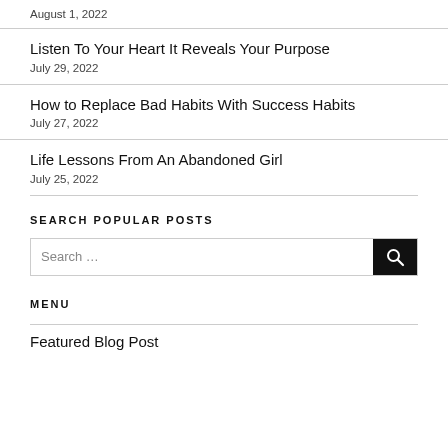August 1, 2022
Listen To Your Heart It Reveals Your Purpose
July 29, 2022
How to Replace Bad Habits With Success Habits
July 27, 2022
Life Lessons From An Abandoned Girl
July 25, 2022
SEARCH POPULAR POSTS
Search …
MENU
Featured Blog Post